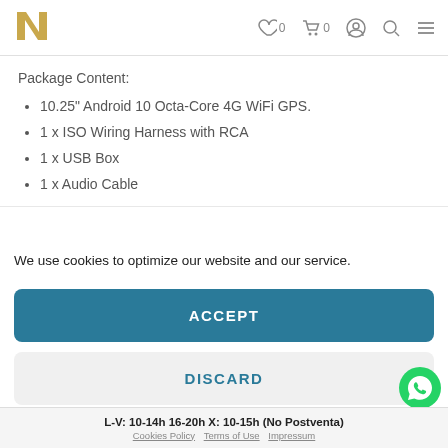N [logo] ♡ 0  🛒 0  👤  🔍  ≡
Package Content:
10.25" Android 10 Octa-Core 4G WiFi GPS.
1 x ISO Wiring Harness with RCA
1 x USB Box
1 x Audio Cable
We use cookies to optimize our website and our service.
ACCEPT
DISCARD
PREFERENCES
L-V: 10-14h 16-20h X: 10-15h (No Postventa)  Cookies Policy  Terms of Use  Impressum